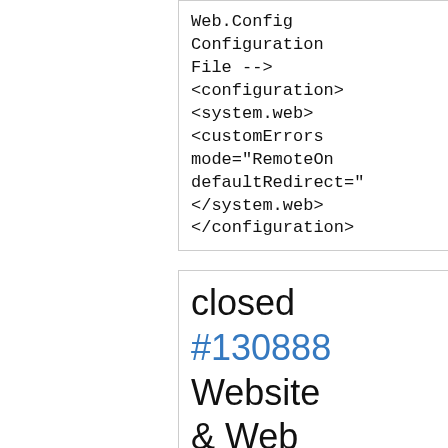Web.Config Configuration File --> <configuration> <system.web> <customErrors mode="RemoteOn" defaultRedirect="..." </system.web> </configuration>
closed #130888 Website & Web Services Feedback Case Date: 3/11/...